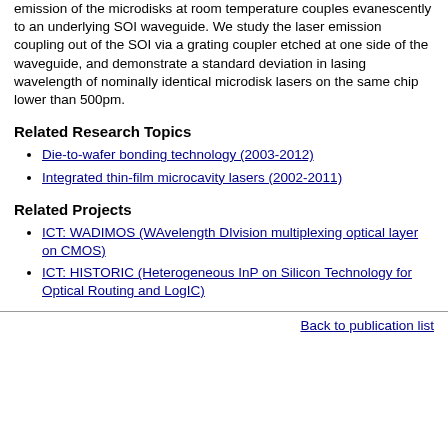emission of the microdisks at room temperature couples evanescently to an underlying SOI waveguide. We study the laser emission coupling out of the SOI via a grating coupler etched at one side of the waveguide, and demonstrate a standard deviation in lasing wavelength of nominally identical microdisk lasers on the same chip lower than 500pm.
Related Research Topics
Die-to-wafer bonding technology (2003-2012)
Integrated thin-film microcavity lasers (2002-2011)
Related Projects
ICT: WADIMOS (WAvelength DIvision multiplexing optical layer on CMOS)
ICT: HISTORIC (Heterogeneous InP on Silicon Technology for Optical Routing and LogIC)
Back to publication list